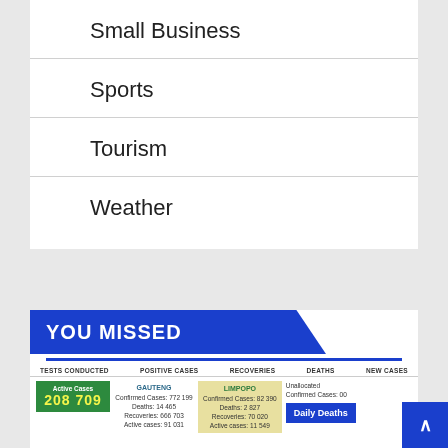Small Business
Sports
Tourism
Weather
YOU MISSED
[Figure (infographic): COVID-19 South Africa stats infographic showing Tests Conducted, Positive Cases, Recoveries, Deaths, New Cases columns; Active Cases 208 709; Gauteng Confirmed Cases 772 199, Deaths 14 465, Recoveries 666 703; Limpopo Confirmed Cases 82 390, Deaths 2 827, Recoveries 70 020; Unallocated Confirmed Cases 00; Daily Deaths button]